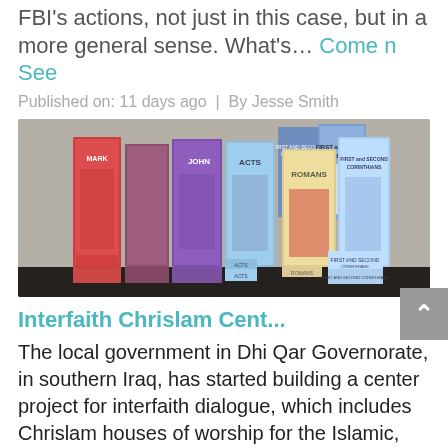FBI's actions, not just in this case, but in a more general sense. What's… Come n See
Published on: 11 days ago | By Jesse Smith
[Figure (photo): Shelf of religious books including Mark, John, Acts, Romans, First and Second Corinthians and other titles displayed in a store or library setting.]
Interfaith Chrislam Cent...
The local government in Dhi Qar Governorate, in southern Iraq, has started building a center project for interfaith dialogue, which includes Chrislam houses of worship for the Islamic, Christian, Jewish and Sabian religions, as well as a hall and